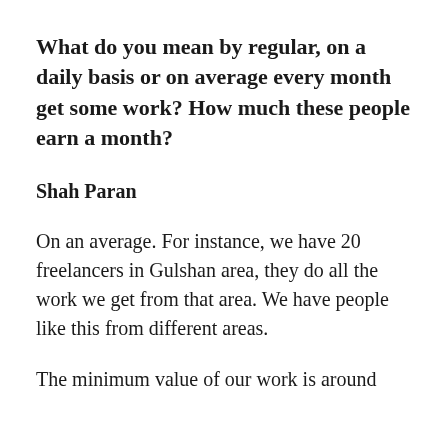What do you mean by regular, on a daily basis or on average every month get some work? How much these people earn a month?
Shah Paran
On an average. For instance, we have 20 freelancers in Gulshan area, they do all the work we get from that area. We have people like this from different areas.
The minimum value of our work is around